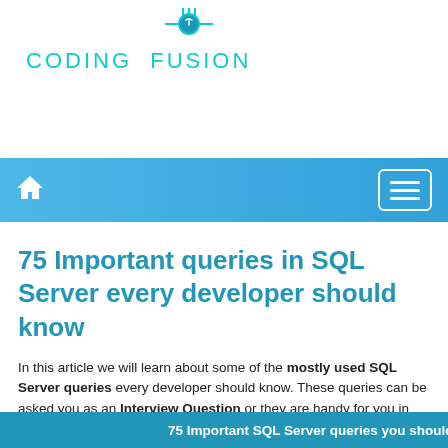[Figure (logo): Coding Fusion logo with teal plug icon and teal uppercase text 'CODING FUSION']
[Figure (screenshot): Blue gradient navigation bar with white home icon on left and white menu/hamburger button on right]
75 Important queries in SQL Server every developer should know
In this article we will learn about some of the mostly used SQL Server queries every developer should know. These queries can be asked you as an Interview Question or they are handy for you in your day to day tasks.
1. Creat
75 Important SQL Server queries you should know